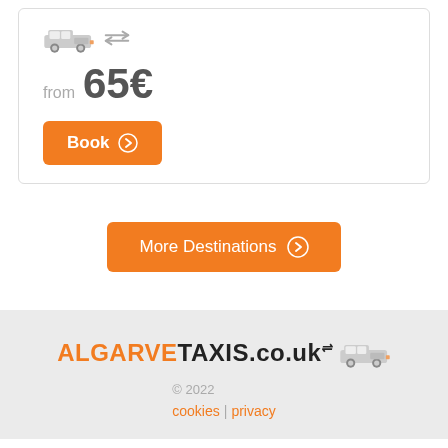[Figure (illustration): Minivan/taxi icon facing right with double-headed arrow (left-right) icons beside it]
from 65€
Book →
More Destinations →
[Figure (logo): AlgarveTaxis.co.uk logo with minivan icon]
© 2022 cookies | privacy